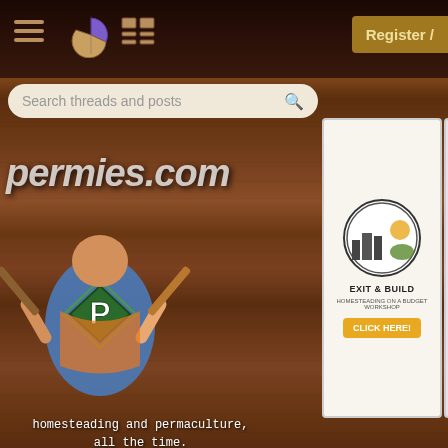permies.com navigation bar with hamburger menu, pie icon, grid icon, and Register button
[Figure (screenshot): Search bar with text 'Search threads and posts' and magnifying glass icon]
[Figure (logo): permies.com logo with mascot character holding tools, green P diamond badge]
homesteading and permaculture, all the time.
[Figure (illustration): Exit & Build advertisement - Homesteading on a Budget Workshop with CLICK HERE button]
[Figure (illustration): WITH PIE advertisement with thumbs up and thumbs down icons and BUY button]
permaculture forums
growies
critters
building
OTHER THREADS SIMILAR TO THIS TRE...
[Figure (photo): Thumbnail photo of garden plants/greenery for thread 'Growth comparison in']
Growth comparison in
2 replies